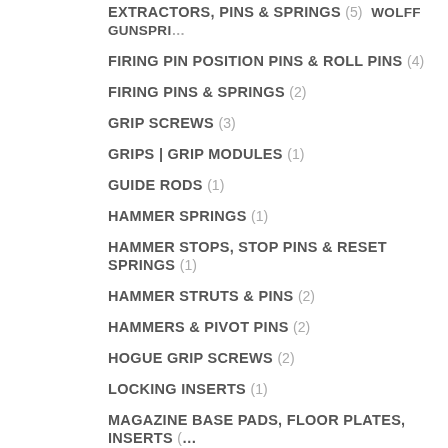EXTRACTORS, PINS & SPRINGS (5)  Wolff Gunspr...
FIRING PIN POSITION PINS & ROLL PINS (4)
FIRING PINS & SPRINGS (2)
GRIP SCREWS (3)
GRIPS | GRIP MODULES (1)
GUIDE RODS (1)
HAMMER SPRINGS (1)
HAMMER STOPS, STOP PINS & RESET SPRINGS (1)
HAMMER STRUTS & PINS (2)
HAMMERS & PIVOT PINS (2)
HOGUE GRIP SCREWS (2)
LOCKING INSERTS (1)
MAGAZINE BASE PADS, FLOOR PLATES, INSERTS (...)
MAGAZINE CATCHES, STOPS, SPRINGS & SUPPOR...
MAGAZINE FOLLOWERS (1)
MAIN SPRINGS & SEATS (4)
PARTS KITS (1)
RECOIL SPRINGS (2)